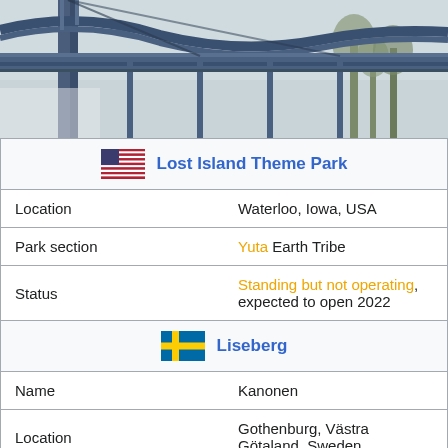[Figure (photo): Roller coaster structure with blue steel track and support towers, photographed outdoors with bare trees in background]
| [US Flag] Lost Island Theme Park |  |
| Location | Waterloo, Iowa, USA |
| Park section | Yuta Earth Tribe |
| Status | Standing but not operating, expected to open 2022 |
| [SE Flag] Liseberg |  |
| Name | Kanonen |
| Location | Gothenburg, Västra Götaland, Sweden |
| Operated | April 23, 2005 to December 30, 2016 |